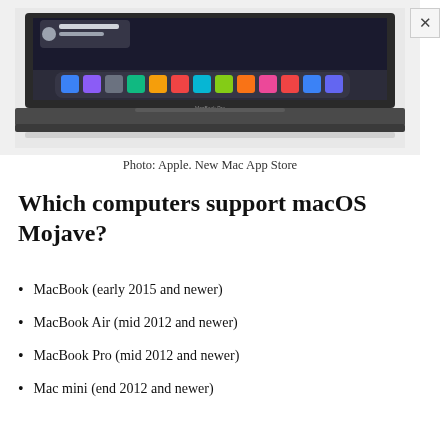[Figure (screenshot): MacBook Pro laptop showing macOS Mojave with the Mac App Store dock visible, partially cropped at top]
Photo: Apple. New Mac App Store
Which computers support macOS Mojave?
MacBook (early 2015 and newer)
MacBook Air (mid 2012 and newer)
MacBook Pro (mid 2012 and newer)
Mac mini (end 2012 and newer)